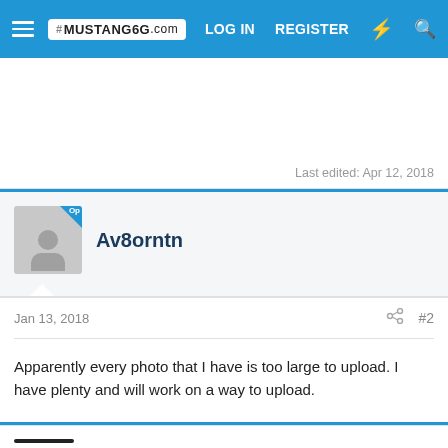Mustang6G.com | LOG IN | REGISTER
Last edited: Apr 12, 2018
Av8orntn
Jan 13, 2018 #2
Apparently every photo that I have is too large to upload. I have plenty and will work on a way to upload.